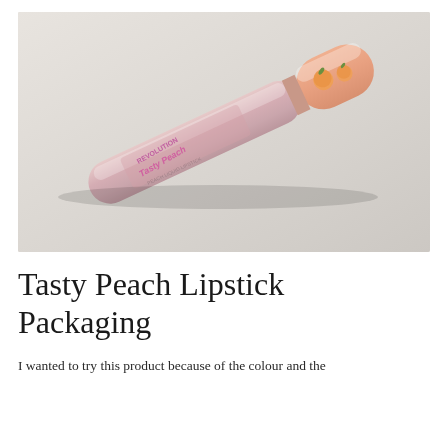[Figure (photo): A Revolution Tasty Peach liquid lipstick in peach/pink packaging with peach fruit illustrations on the cap, lying diagonally on a light grey/white surface.]
Tasty Peach Lipstick Packaging
I wanted to try this product because of the colour and the